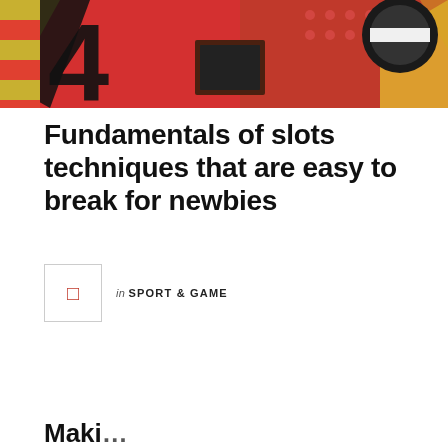[Figure (illustration): Colorful pop-art style illustration with bold red, yellow, and black shapes — appears to be a stylized gambling/slots themed graphic]
Fundamentals of slots techniques that are easy to break for newbies
in SPORT & GAME
Maki...